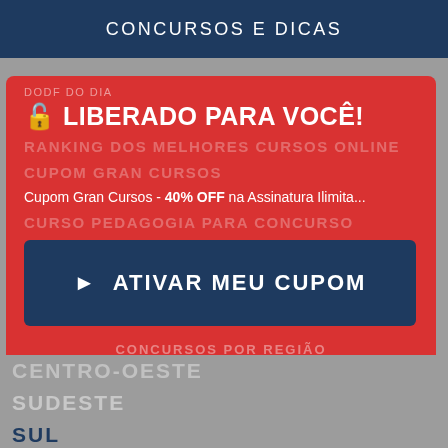CONCURSOS E DICAS
[Figure (screenshot): Red promotional overlay popup on gray website background. Overlay shows title 'LIBERADO PARA VOCÊ!', description 'Cupom Gran Cursos - 40% OFF na Assinatura Ilimita...', a dark blue CTA button 'ATIVAR MEU CUPOM', and text 'Exclusivo e por Tempo Limitado!'. Behind the overlay are faded menu items in gray. Below the overlay are navigation links: CENTRO-OESTE, SUDESTE, SUL, NORTE, NORDESTE.]
DODF DO DIA
🔓 LIBERADO PARA VOCÊ!
RANKING DOS MELHORES CURSOS ONLINE
CUPOM GRAN CURSOS
Cupom Gran Cursos - 40% OFF na Assinatura Ilimita
CURSO PEDAGOGIA PARA CONCURSO
► ATIVAR MEU CUPOM
CONCURSOS POR REGIÃO
Exclusivo e por Tempo Limitado!
CENTRO-OESTE
SUDESTE
SUL
NORTE
NORDESTE